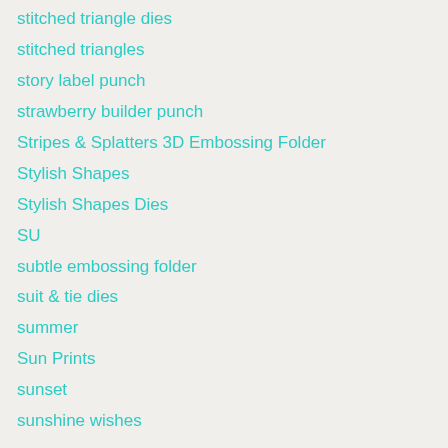stitched triangle dies
stitched triangles
story label punch
strawberry builder punch
Stripes & Splatters 3D Embossing Folder
Stylish Shapes
Stylish Shapes Dies
SU
subtle embossing folder
suit & tie dies
summer
Sun Prints
sunset
sunshine wishes